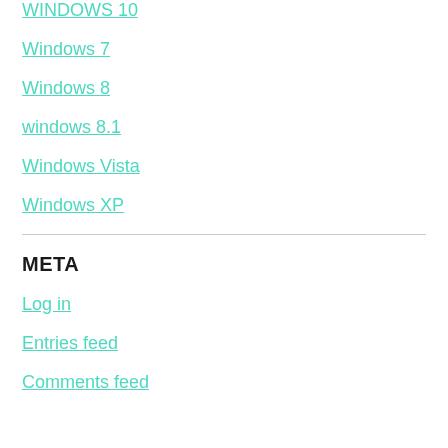WINDOWS 10
Windows 7
Windows 8
windows 8.1
Windows Vista
Windows XP
META
Log in
Entries feed
Comments feed